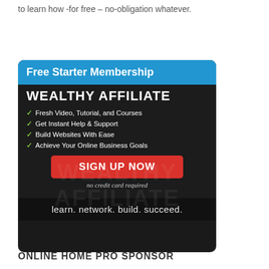to learn how -for free – no-obligation whatever.
[Figure (infographic): Wealthy Affiliate Free Starter Membership advertisement banner. Blue header with 'Free Starter Membership', dark body with 'WEALTHY AFFILIATE' branding, checklist of features (Fresh Video, Tutorial, and Courses; Get Instant Help & Support; Build Websites With Ease; Achieve Your Online Business Goals), red SIGN UP NOW button, 'no credit card required' text, and 'learn. network. build. succeed.' tagline.]
ONLINE HOME PRO SPONSOR